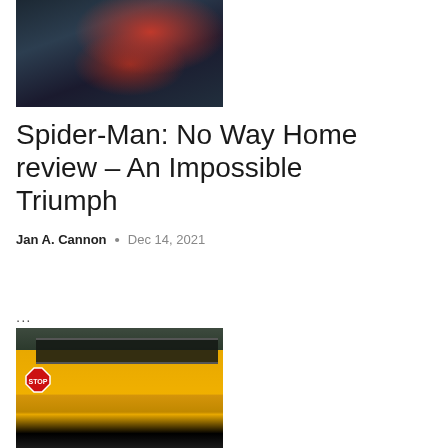[Figure (photo): Spider-Man in red and blue suit against a stormy background with lightning]
Spider-Man: No Way Home review – An Impossible Triumph
Jan A. Cannon • Dec 14, 2021
...
[Figure (photo): Yellow school bus with STOP sign extended, side view]